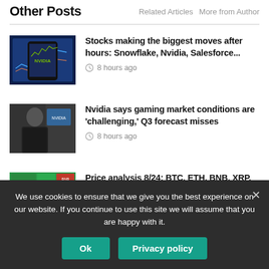Other Posts
Related Articles   More from Author
[Figure (photo): Smartphone showing Nvidia stock chart with blue stock market background]
Stocks making the biggest moves after hours: Snowflake, Nvidia, Salesforce...
8 hours ago
[Figure (photo): Jensen Huang (Nvidia CEO) in black jacket presenting]
Nvidia says gaming market conditions are 'challenging,' Q3 forecast misses
8 hours ago
[Figure (photo): Crypto price heat map showing BTC, ETH and other coins in green and red]
Price analysis 8/24: BTC, ETH, BNB, XRP, ADA, SOL, DOGE,...
8 hours ago
We use cookies to ensure that we give you the best experience on our website. If you continue to use this site we will assume that you are happy with it.
Ok   Privacy policy